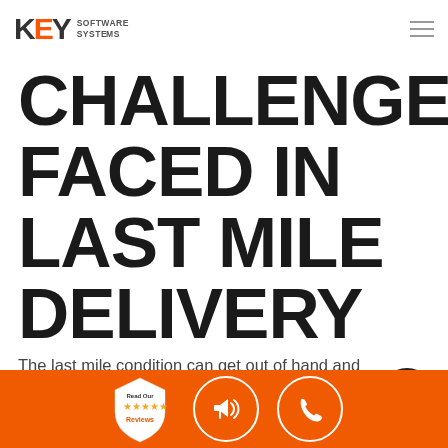KEY SOFTWARE SYSTEMS
CHALLENGES FACED IN LAST MILE DELIVERY
The last mile condition can get out of hand and lead to delayed delivery schedules, higher fuel expenses or even incorrect deliveries. The challenges that might occur during this stage are usually due to weather-related issues, lower predictability of road conditions in rural or
[Figure (logo): Key Software Systems logo with orange E and hamburger menu icon]
[Figure (infographic): Orange bottom bar with Read Our Reviews badge, megaphone icon circle, and phone icon circle]